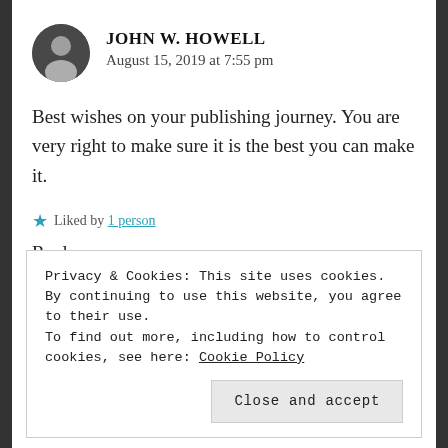JOHN W. HOWELL
August 15, 2019 at 7:55 pm
Best wishes on your publishing journey. You are very right to make sure it is the best you can make it.
Liked by 1 person
Reply →
Privacy & Cookies: This site uses cookies. By continuing to use this website, you agree to their use.
To find out more, including how to control cookies, see here: Cookie Policy
Close and accept